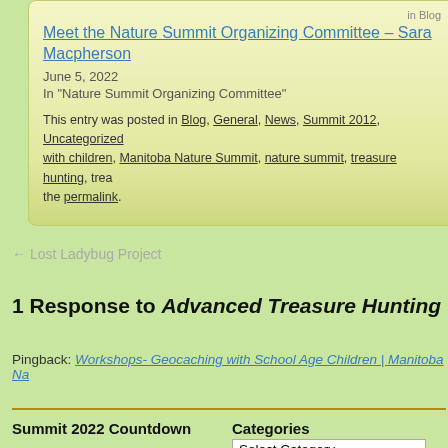in Blog
Meet the Nature Summit Organizing Committee – Sara Macpherson
June 5, 2022
In "Nature Summit Organizing Committee"
This entry was posted in Blog, General, News, Summit 2012, Uncategorized with children, Manitoba Nature Summit, nature summit, treasure hunting, trea… the permalink.
← Lost Ladybug Project
1 Response to Advanced Treasure Hunting
Pingback: Workshops- Geocaching with School Age Children | Manitoba Na…
Summit 2022 Countdown
Categories